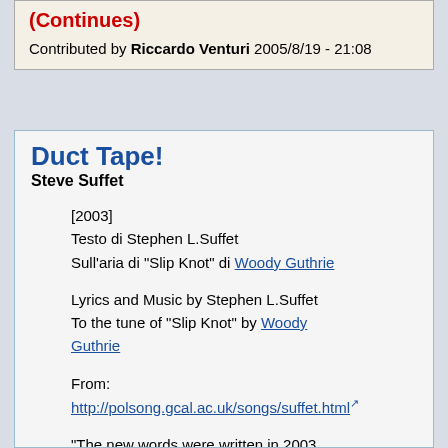(Continues)
Contributed by Riccardo Venturi 2005/8/19 - 21:08
Duct Tape!
Steve Suffet
[2003]
Testo di Stephen L.Suffet
Sull'aria di "Slip Knot" di Woody Guthrie
Lyrics and Music by Stephen L.Suffet
To the tune of "Slip Knot" by Woody Guthrie
From:
http://polsong.gcal.ac.uk/songs/suffet.html
"The new words were written in 2003